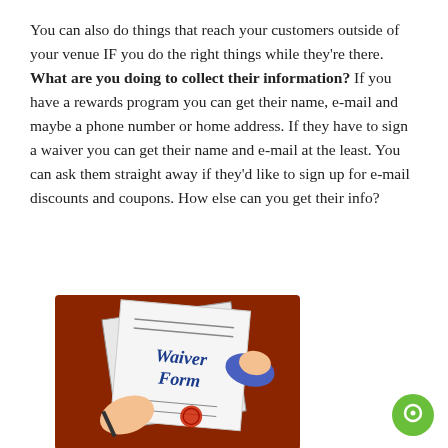You can also do things that reach your customers outside of your venue IF you do the right things while they're there. What are you doing to collect their information? If you have a rewards program you can get their name, e-mail and maybe a phone number or home address. If they have to sign a waiver you can get their name and e-mail at the least. You can ask them straight away if they'd like to sign up for e-mail discounts and coupons. How else can you get their info?
[Figure (illustration): Cartoon illustration of two hands holding a waiver form. The form shows the text 'Waiver Form' in blue italic letters, with signature lines and a red seal stamp. The background is dark red/brown. One hand holds a pen.]